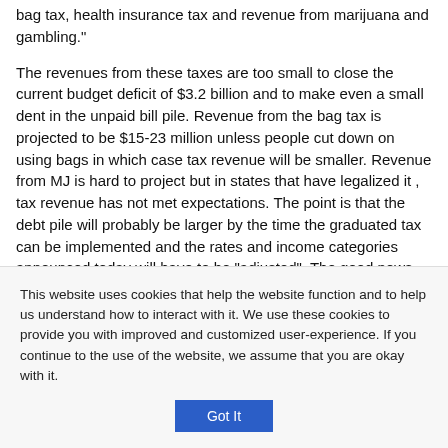bag tax, health insurance tax and revenue from marijuana and gambling."
The revenues from these taxes are too small to close the current budget deficit of $3.2 billion and to make even a small dent in the unpaid bill pile. Revenue from the bag tax is projected to be $15-23 million unless people cut down on using bags in which case tax revenue will be smaller. Revenue from MJ is hard to project but in states that have legalized it , tax revenue has not met expectations. The point is that the debt pile will probably be larger by the time the graduated tax can be implemented and the rates and income categories announced today will have to be "adjusted". The good news about all this is the amount of time between the announcement now and when this could go in to effect. Anyone who doesn't
This website uses cookies that help the website function and to help us understand how to interact with it. We use these cookies to provide you with improved and customized user-experience. If you continue to the use of the website, we assume that you are okay with it.
Got It